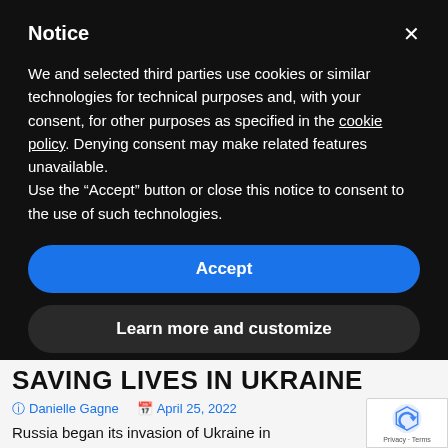Notice
We and selected third parties use cookies or similar technologies for technical purposes and, with your consent, for other purposes as specified in the cookie policy. Denying consent may make related features unavailable.
Use the “Accept” button or close this notice to consent to the use of such technologies.
Accept
Learn more and customize
SAVING LIVES IN UKRAINE
Danielle Gagne   April 25, 2022   Military Drones, Public Safety
Russia began its invasion of Ukraine in February...